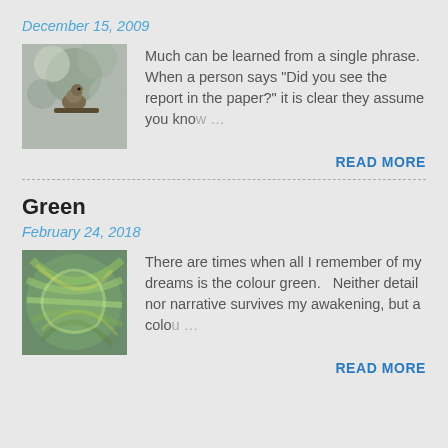December 15, 2009
[Figure (photo): Photo of a bird perched in a tree with blurred foliage background]
Much can be learned from a single phrase. When a person says “Did you see the report in the paper?” it is clear they assume you kno…
READ MORE
Green
February 24, 2018
[Figure (photo): Blurred swirling green and yellow abstract photo, possibly grass or plant]
There are times when all I remember of my dreams is the colour green.   Neither detail nor narrative survives my awakening, but a colo…
READ MORE